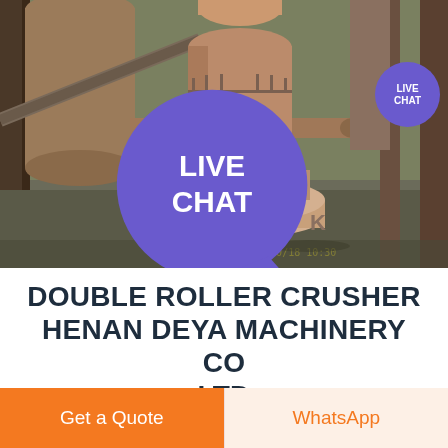[Figure (photo): Industrial double roller crusher machine in a factory setting. Large cylindrical equipment with brown/rust-colored paint, circular base platform, pipes, and structural steel framing. Indoor industrial facility with green walls. Timestamp '2008/10/18 10:30' visible in yellow at bottom right of photo. Live Chat badge in purple circle at top right corner.]
DOUBLE ROLLER CRUSHER HENAN DEYA MACHINERY CO LTD
Get a Quote
WhatsApp